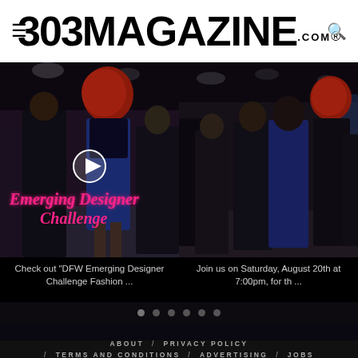303 MAGAZINE .COM ®
[Figure (photo): Fashion runway photo showing models in dark clothing with one model in blue dress with red afro hair; overlay text reads 'Emerging Designer Challenge' in pink neon cursive with play button]
[Figure (photo): Fashion runway photo showing models walking the runway in dark clothing with dramatic lighting]
Check out "DFW Emerging Designer Challenge Fashion ..."
Join us on Saturday, August 20th at 7:00pm, for th ...
ABOUT / PRIVACY POLICY / TERMS AND CONDITIONS / ADVERTISING / JOBS